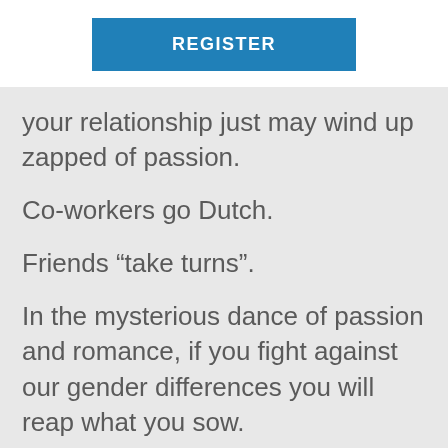[Figure (other): Blue REGISTER button]
your relationship just may wind up zapped of passion.
Co-workers go Dutch.
Friends “take turns”.
In the mysterious dance of passion and romance, if you fight against our gender differences you will reap what you sow.
Because let me tell you, if you